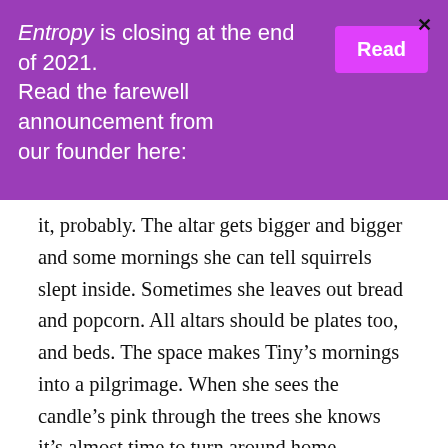Entropy is closing at the end of 2021. Read the farewell announcement from our founder here: [Read]
it, probably. The altar gets bigger and bigger and some mornings she can tell squirrels slept inside. Sometimes she leaves out bread and popcorn. All altars should be plates too, and beds. The space makes Tiny’s mornings into a pilgrimage. When she sees the candle’s pink through the trees she knows it’s almost time to turn around home.
※
Tiny has a half-brother too. Her mother